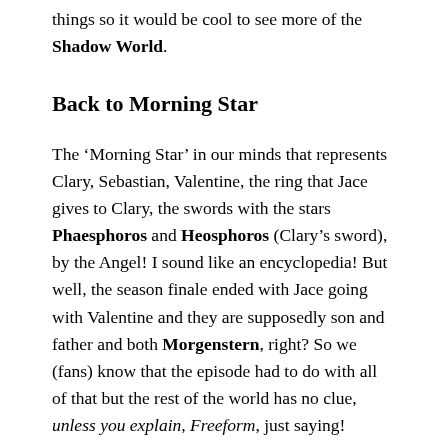things so it would be cool to see more of the Shadow World.
Back to Morning Star
The ‘Morning Star’ in our minds that represents Clary, Sebastian, Valentine, the ring that Jace gives to Clary, the swords with the stars Phaesphoros and Heosphoros (Clary’s sword), by the Angel! I sound like an encyclopedia! But well, the season finale ended with Jace going with Valentine and they are supposedly son and father and both Morgenstern, right? So we (fans) know that the episode had to do with all of that but the rest of the world has no clue, unless you explain, Freeform, just saying!